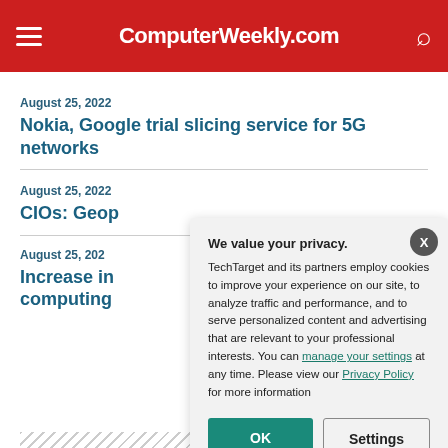ComputerWeekly.com
August 25, 2022
Nokia, Google trial slicing service for 5G networks
August 25, 2022
CIOs: Geop[olitical...]
August 25, 2022
Increase in[...] computing[...]
1 2 3 4 5 6 7 ... 20 21 22 23 24...
[Figure (screenshot): Privacy consent modal overlay: 'We value your privacy. TechTarget and its partners employ cookies to improve your experience on our site, to analyze traffic and performance, and to serve personalized content and advertising that are relevant to your professional interests. You can manage your settings at any time. Please view our Privacy Policy for more information.' With OK and Settings buttons.]